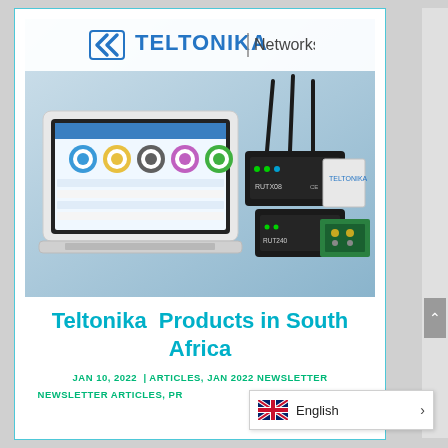[Figure (logo): Teltonika Networks logo with double left-arrow icon and company name in blue]
[Figure (photo): Teltonika networking products: a laptop showing a colorful dashboard interface and multiple black wireless routers/devices with antennas, plus a circuit board, against a light blue background]
Teltonika Products in South Africa
JAN 10, 2022 | ARTICLES, JAN 2022 NEWSLETTER
NEWSLETTER ARTICLES, PR...
[Figure (screenshot): Language selector widget showing UK flag and 'English' label with a right arrow]